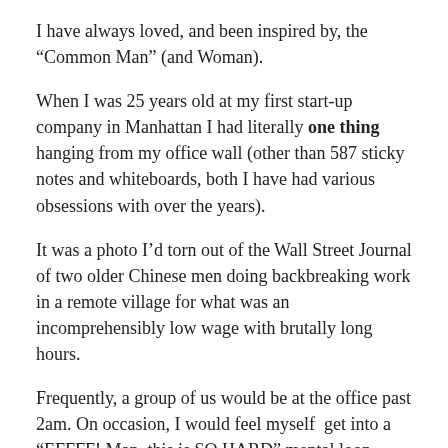I have always loved, and been inspired by, the “Common Man” (and Woman).
When I was 25 years old at my first start-up company in Manhattan I had literally one thing hanging from my office wall (other than 587 sticky notes and whiteboards, both I have had various obsessions with over the years).
It was a photo I’d torn out of the Wall Street Journal of two older Chinese men doing backbreaking work in a remote village for what was an incomprehensibly low wage with brutally long hours.
Frequently, a group of us would be at the office past 2am. On occasion, I would feel myself  get into a “EFFFF! Man, this is SO HARD” mental loop.
But then I would look at the picture and remind myself.